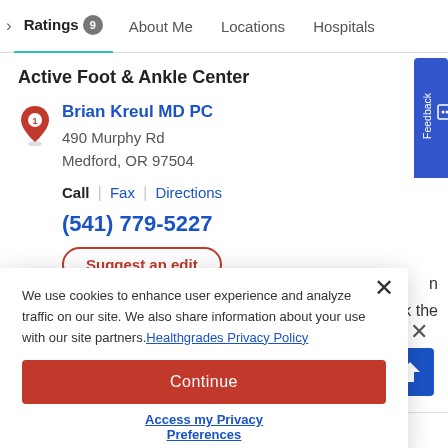Ratings 9   About Me   Locations   Hospitals
Active Foot & Ankle Center
Brian Kreul MD PC
490 Murphy Rd
Medford, OR 97504
Call | Fax | Directions
(541) 779-5227
Suggest an edit
We use cookies to enhance user experience and analyze traffic on our site. We also share information about your use with our site partners. Healthgrades Privacy Policy
Continue
Access my Privacy Preferences
Plantar Fasciitis: Top Questions